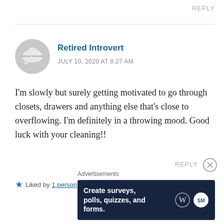REPLY
[Figure (illustration): Circular avatar with gray background and cloud/thought bubble icon with text 'retired introvert']
Retired Introvert
JULY 10, 2020 AT 8:27 AM
I'm slowly but surely getting motivated to go through closets, drawers and anything else that's close to overflowing. I'm definitely in a throwing mood. Good luck with your cleaning!!
Liked by 1 person
REPLY
Advertisements
[Figure (screenshot): Dark blue advertisement banner: 'Create surveys, polls, quizzes, and forms.' with WordPress and SurveyMonkey logos]